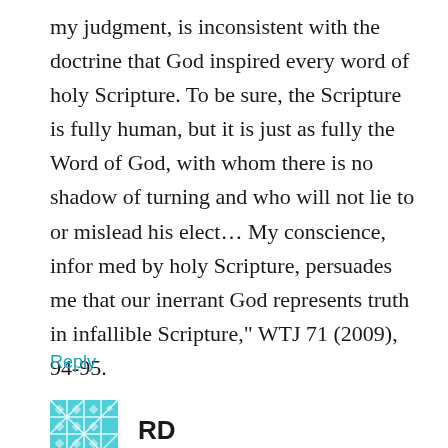my judgment, is inconsistent with the doctrine that God inspired every word of holy Scripture. To be sure, the Scripture is fully human, but it is just as fully the Word of God, with whom there is no shadow of turning and who will not lie to or mislead his elect… My conscience, infor med by holy Scripture, persuades me that our inerrant God represents truth in infallible Scripture," WTJ 71 (2009), 94-95.
Reply
[Figure (other): Teal/cyan decorative geometric avatar icon with a diamond/lattice pattern]
RD